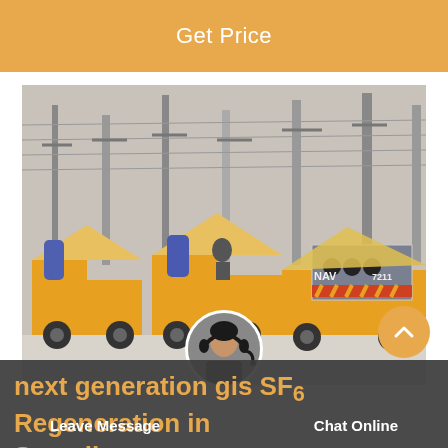Get Price
[Figure (photo): A row of yellow utility/maintenance trucks parked at an industrial/electrical substation site. The trucks have open-topped cargo areas with blue cylinders and equipment. Power line towers are visible in the background. The scene appears to be in winter with snow on the ground.]
next generation gis SF6 Regeneration in Somalia
Leave Message
Chat Online